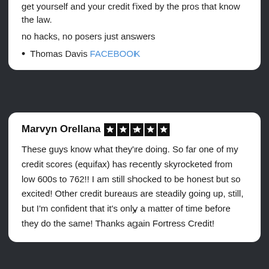get yourself and your credit fixed by the pros that know the law.
no hacks, no posers just answers
Thomas Davis FACEBOOK
Marvyn Orellana ★★★★★
These guys know what they're doing. So far one of my credit scores (equifax) has recently skyrocketed from low 600s to 762!! I am still shocked to be honest but so excited! Other credit bureaus are steadily going up, still, but I'm confident that it's only a matter of time before they do the same! Thanks again Fortress Credit!